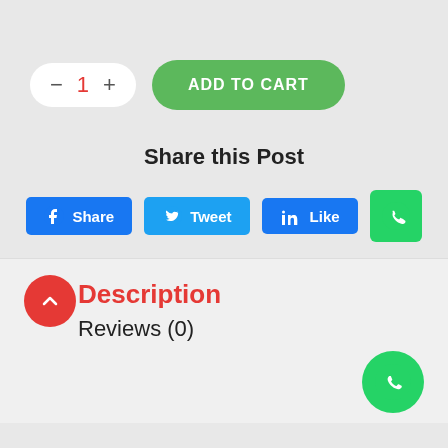[Figure (screenshot): Quantity selector with minus button, number 1 in red, plus button in a white pill shape]
[Figure (screenshot): Green ADD TO CART button with rounded corners]
Share this Post
[Figure (screenshot): Social sharing buttons: Facebook Share (blue), Twitter Tweet (light blue), LinkedIn Like (blue), WhatsApp green square icon]
Description
Reviews (0)